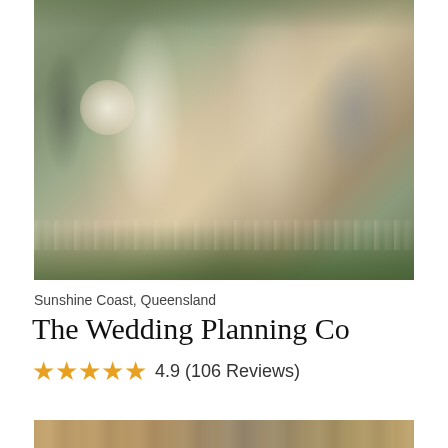[Figure (photo): Wedding couple walking hand-in-hand outdoors after ceremony. Bride in white lace long-sleeve gown holding bouquet, laughing joyfully. Groom in beige linen suit. Wedding guests in background on green lawn.]
Sunshine Coast, Queensland
The Wedding Planning Co
4.9 (106 Reviews)